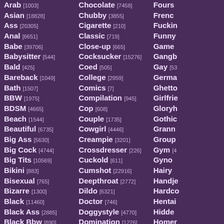Arab [1003]
Asian [18828]
Ass [20305]
Anal [6651]
Babe [39706]
Babysitter [544]
Bald [425]
Bareback [1049]
Bath [1507]
BBW [1975]
BDSM [4665]
Beach [1544]
Beautiful [6735]
Big Ass [5630]
Big Cock [4744]
Big Tits [10569]
Bikini [883]
Bisexual [765]
Bizarre [1300]
Black [11460]
Black Ass [2885]
Black Bbw [890]
Black Gay [402]
Chocolate [7458]
Chubby [3855]
Cigarette [210]
Classic [719]
Close-up [665]
Cocksucker [15276]
Coed [505]
College [2959]
Comics [7]
Compilation [945]
Cop [608]
Couple [1735]
Cowgirl [4446]
Creampie [3201]
Crossdresser [226]
Cuckold [611]
Cumshot [22916]
Deepthroat [2772]
Dildo [6321]
Doctor [746]
Doggystyle [4770]
Domination [1226]
Double Fuck [1541]
Foursome [...]
French [...]
Fucking [...]
Funny [...]
Game [...]
Gangb[...] [...]
Gay [53...]
German [...]
Ghetto [...]
Girlfriend [...]
Gloryhole [...]
Gothic [...]
Granny [...]
Group [...]
Gym [4...]
Gyno [...]
Hairy [...]
Handjob [...]
Hardcore [...]
Hentai [...]
Hidden [...]
Homemade [...]
Hospital [...]